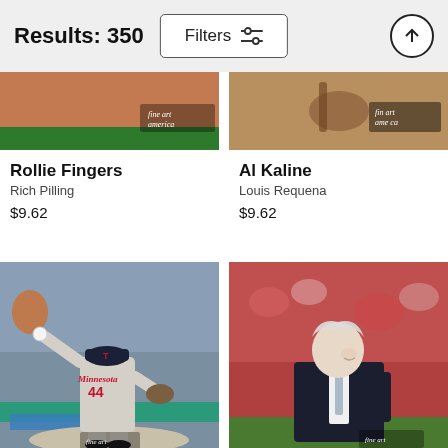Results: 350
Filters
[Figure (photo): Partial top image of Rollie Fingers - baseball player, with fine art america watermark]
Rollie Fingers
Rich Pilling
$9.62
[Figure (photo): Partial top image of Al Kaline - baseball with fine art america watermark]
Al Kaline
Louis Requena
$9.62
[Figure (photo): Minnesota Twins pitcher #44 in throwing motion on baseball field]
[Figure (photo): Older man in dark suit smiling, standing on baseball field with crowd in background]